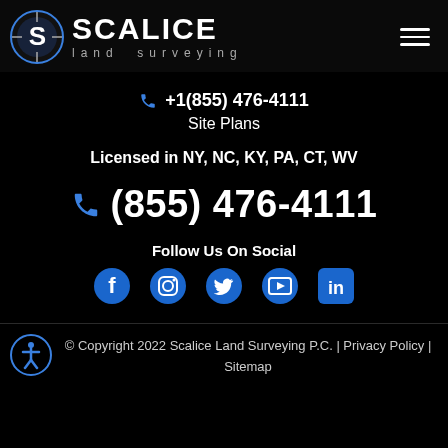[Figure (logo): Scalice Land Surveying logo with compass/S icon and company name]
+1(855) 476-4111
Site Plans
Licensed in NY, NC, KY, PA, CT, WV
(855) 476-4111
Follow Us On Social
[Figure (illustration): Social media icons: Facebook, Instagram, Twitter, YouTube, LinkedIn]
© Copyright 2022 Scalice Land Surveying P.C. | Privacy Policy | Sitemap